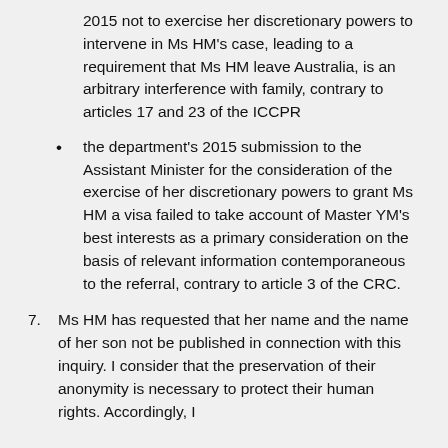2015 not to exercise her discretionary powers to intervene in Ms HM's case, leading to a requirement that Ms HM leave Australia, is an arbitrary interference with family, contrary to articles 17 and 23 of the ICCPR
the department's 2015 submission to the Assistant Minister for the consideration of the exercise of her discretionary powers to grant Ms HM a visa failed to take account of Master YM's best interests as a primary consideration on the basis of relevant information contemporaneous to the referral, contrary to article 3 of the CRC.
7. Ms HM has requested that her name and the name of her son not be published in connection with this inquiry. I consider that the preservation of their anonymity is necessary to protect their human rights. Accordingly, I